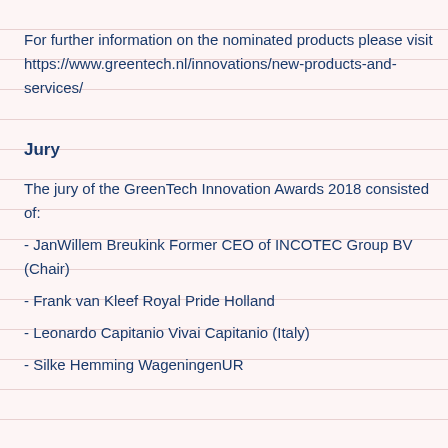For further information on the nominated products please visit https://www.greentech.nl/innovations/new-products-and-services/
Jury
The jury of the GreenTech Innovation Awards 2018 consisted of:
- JanWillem Breukink Former CEO of INCOTEC Group BV (Chair)
- Frank van Kleef Royal Pride Holland
- Leonardo Capitanio Vivai Capitanio (Italy)
- Silke Hemming WageningenUR